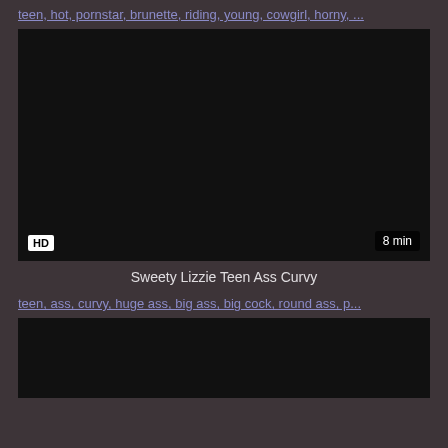teen, hot, pornstar, brunette, riding, young, cowgirl, horny, ...
[Figure (screenshot): Black video thumbnail with HD badge bottom-left and 8 min duration badge bottom-right]
Sweety Lizzie Teen Ass Curvy
teen, ass, curvy, huge ass, big ass, big cock, round ass, p...
[Figure (screenshot): Black video thumbnail (partially visible, bottom of page)]